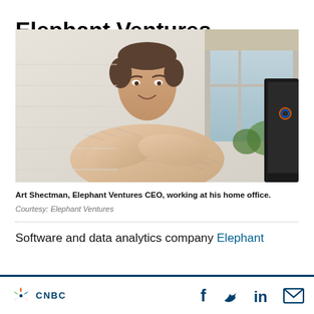Elephant Ventures
[Figure (photo): Art Shectman, Elephant Ventures CEO, posing with arms crossed at his home office, white walls and window visible in background]
Art Shectman, Elephant Ventures CEO, working at his home office.
Courtesy: Elephant Ventures
Software and data analytics company Elephant
CNBC | Social icons: Facebook, Twitter, LinkedIn, Email